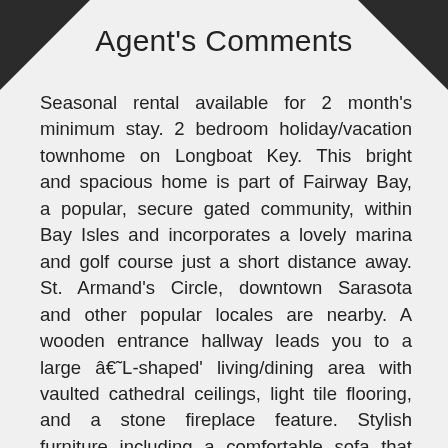Agent's Comments
Seasonal rental available for 2 month's minimum stay. 2 bedroom holiday/vacation townhome on Longboat Key. This bright and spacious home is part of Fairway Bay, a popular, secure gated community, within Bay Isles and incorporates a lovely marina and golf course just a short distance away. St. Armand's Circle, downtown Sarasota and other popular locales are nearby. A wooden entrance hallway leads you to a large â€˜L-shaped' living/dining area with vaulted cathedral ceilings, light tile flooring, and a stone fireplace feature. Stylish furniture including a comfortable sofa that pulls out to a bed for visitors, TV, DVD player and complete with DVD and free WiFi in